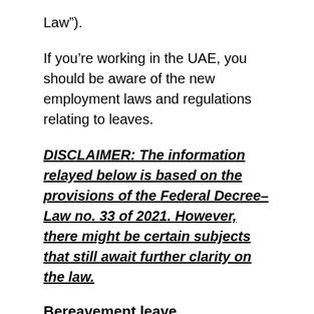Law”).
If you’re working in the UAE, you should be aware of the new employment laws and regulations relating to leaves.
DISCLAIMER: The information relayed below is based on the provisions of the Federal Decree–Law no. 33 of 2021. However, there might be certain subjects that still await further clarity on the law.
Bereavement leave